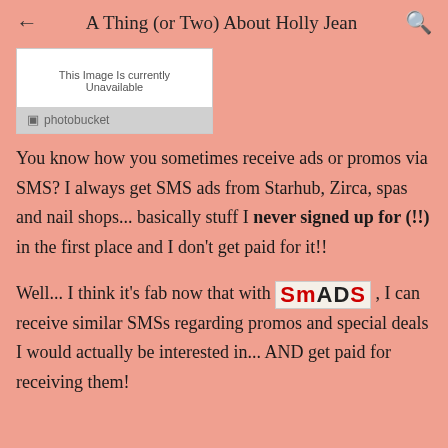← A Thing (or Two) About Holly Jean 🔍
[Figure (other): Image placeholder box showing 'This Image Is currently Unavailable' with Photobucket branding below]
You know how you sometimes receive ads or promos via SMS? I always get SMS ads from Starhub, Zirca, spas and nail shops... basically stuff I never signed up for (!!) in the first place and I don't get paid for it!!
Well... I think it's fab now that with SMADS, I can receive similar SMSs regarding promos and special deals I would actually be interested in... AND get paid for receiving them!